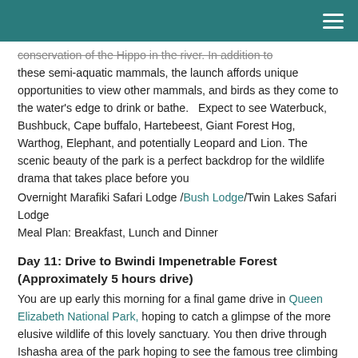conservation of the Hippo in the river. In addition to these semi-aquatic mammals, the launch affords unique opportunities to view other mammals, and birds as they come to the water's edge to drink or bathe.   Expect to see Waterbuck, Bushbuck, Cape buffalo, Hartebeest, Giant Forest Hog, Warthog, Elephant, and potentially Leopard and Lion. The scenic beauty of the park is a perfect backdrop for the wildlife drama that takes place before you
Overnight Marafiki Safari Lodge /Bush Lodge/Twin Lakes Safari Lodge
Meal Plan: Breakfast, Lunch and Dinner
Day 11: Drive to Bwindi Impenetrable Forest (Approximately 5 hours drive)
You are up early this morning for a final game drive in Queen Elizabeth National Park, hoping to catch a glimpse of the more elusive wildlife of this lovely sanctuary. You then drive through Ishasha area of the park hoping to see the famous tree climbing lions (weather permitting) and then through the scenic area known as the